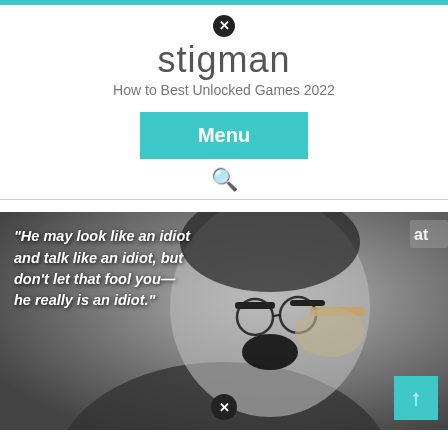stigman — How to Best Unlocked Games 2022
Menu
[Figure (photo): Black and white photo of Groucho Marx holding a cigar, with overlaid italic white quote text: "He may look like an idiot and talk like an idiot, but don't let that fool you— he really is an idiot."]